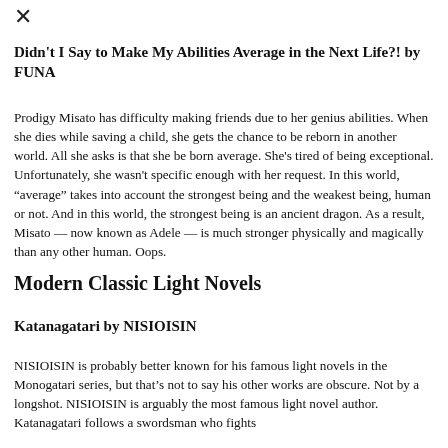[Figure (other): Close/X button icon in top left corner]
Didn't I Say to Make My Abilities Average in the Next Life?! by FUNA
Prodigy Misato has difficulty making friends due to her genius abilities. When she dies while saving a child, she gets the chance to be reborn in another world. All she asks is that she be born average. She's tired of being exceptional. Unfortunately, she wasn't specific enough with her request. In this world, “average” takes into account the strongest being and the weakest being, human or not. And in this world, the strongest being is an ancient dragon. As a result, Misato — now known as Adele — is much stronger physically and magically than any other human. Oops.
Modern Classic Light Novels
Katanagatari by NISIOISIN
NISIOISIN is probably better known for his famous light novels in the Monogatari series, but that’s not to say his other works are obscure. Not by a longshot. NISIOISIN is arguably the most famous light novel author. Katanagatari follows a swordsman who fights